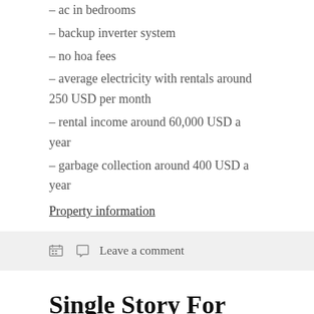– ac in bedrooms
– backup inverter system
– no hoa fees
– average electricity with rentals around 250 USD per month
– rental income around 60,000 USD a year
– garbage collection around 400 USD a year
Property information
Leave a comment
Single Story For Sale in Playa Las Ballenas, Las Terrenas